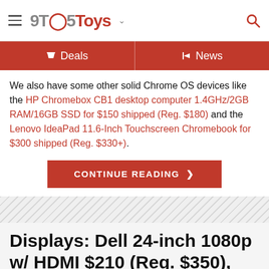9TO5Toys
Deals   News
We also have some other solid Chrome OS devices like the HP Chromebox CB1 desktop computer 1.4GHz/2GB RAM/16GB SSD for $150 shipped (Reg. $180) and the Lenovo IdeaPad 11.6-Inch Touchscreen Chromebook for $300 shipped (Reg. $330+).
CONTINUE READING
Displays: Dell 24-inch 1080p w/ HDMI $210 (Reg. $350), Acer 23-inch $120 (Reg. $200), 21.5-inch for $90 more